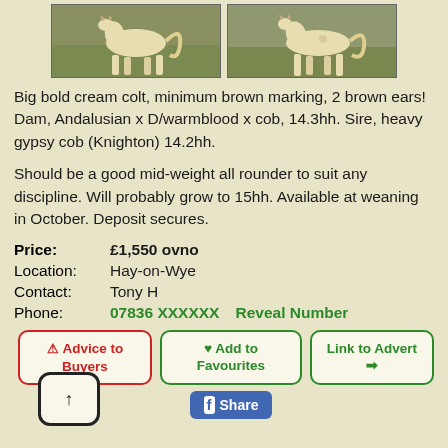[Figure (photo): Two photos of a cream colt standing in a field]
Big bold cream colt, minimum brown marking, 2 brown ears! Dam, Andalusian x D/warmblood x cob, 14.3hh. Sire, heavy gypsy cob (Knighton) 14.2hh.
Should be a good mid-weight all rounder to suit any discipline. Will probably grow to 15hh. Available at weaning in October. Deposit secures.
Price: £1,550 ovno
Location: Hay-on-Wye
Contact: Tony H
Phone: 07836 XXXXXX    Reveal Number